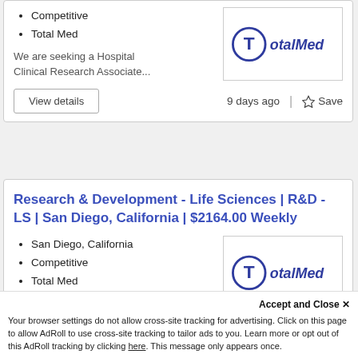Competitive
Total Med
[Figure (logo): TotalMed company logo — circular T icon with 'TotalMed' text in dark blue]
We are seeking a Hospital Clinical Research Associate...
View details
9 days ago
Save
Research & Development - Life Sciences | R&D - LS | San Diego, California | $2164.00 Weekly
San Diego, California
Competitive
Total Med
[Figure (logo): TotalMed company logo — circular T icon with 'TotalMed' text in dark blue]
Accept and Close ✕
Your browser settings do not allow cross-site tracking for advertising. Click on this page to allow AdRoll to use cross-site tracking to tailor ads to you. Learn more or opt out of this AdRoll tracking by clicking here. This message only appears once.